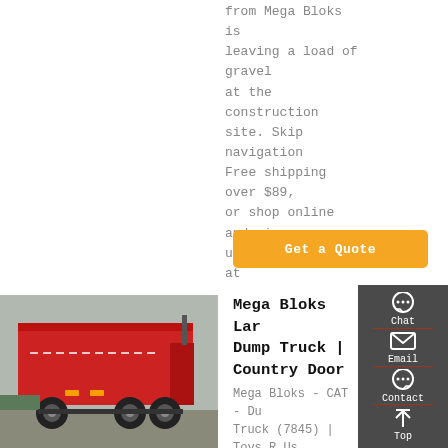from Mega Bloks is leaving a load of gravel at the construction site. Skip navigation Free shipping over $89, or shop online and pick up select orders at
[Figure (other): Orange 'Get a Quote' button]
[Figure (photo): Rear view of a large red dump truck at a construction site]
Mega Bloks Large Dump Truck | Country Door
Mega Bloks - CAT - Dump Truck (7845) | Toys R Us
[Figure (other): Sidebar with Chat, Email, Contact, and Top buttons on dark grey background]